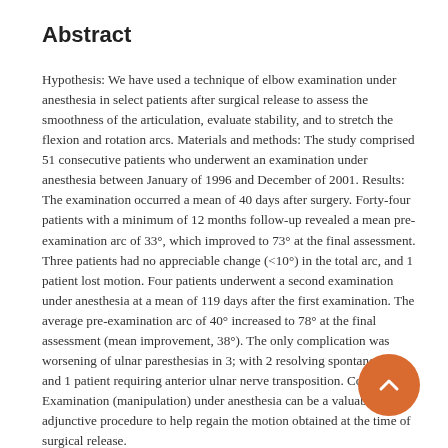Abstract
Hypothesis: We have used a technique of elbow examination under anesthesia in select patients after surgical release to assess the smoothness of the articulation, evaluate stability, and to stretch the flexion and rotation arcs. Materials and methods: The study comprised 51 consecutive patients who underwent an examination under anesthesia between January of 1996 and December of 2001. Results: The examination occurred a mean of 40 days after surgery. Forty-four patients with a minimum of 12 months follow-up revealed a mean pre-examination arc of 33°, which improved to 73° at the final assessment. Three patients had no appreciable change (<10°) in the total arc, and 1 patient lost motion. Four patients underwent a second examination under anesthesia at a mean of 119 days after the first examination. The average pre-examination arc of 40° increased to 78° at the final assessment (mean improvement, 38°). The only complication was worsening of ulnar paresthesias in 3; with 2 resolving spontaneously, and 1 patient requiring anterior ulnar nerve transposition. Conclusions: Examination (manipulation) under anesthesia can be a valuable adjunctive procedure to help regain the motion obtained at the time of surgical release.